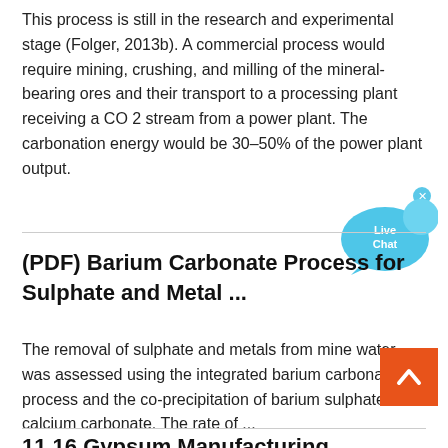This process is still in the research and experimental stage (Folger, 2013b). A commercial process would require mining, crushing, and milling of the mineral-bearing ores and their transport to a processing plant receiving a CO 2 stream from a power plant. The carbonation energy would be 30–50% of the power plant output.
[Figure (other): Live Chat speech bubble widget in blue]
(PDF) Barium Carbonate Process for Sulphate and Metal ...
The removal of sulphate and metals from mine water was assessed using the integrated barium carbonate process and the co-precipitation of barium sulphate with calcium carbonate. The rate of ...
11.16 Gypsum Manufacturing